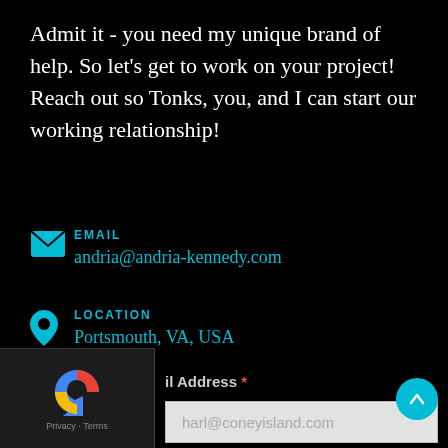Admit it - you need my unique brand of help. So let's get to work on your project! Reach out so Tonks, you, and I can start our working relationship!
EMAIL
andria@andria-kennedy.com
LOCATION
Portsmouth, VA, USA
First Name *
E.g. Harley
il Address *
harl@coneyisland.com